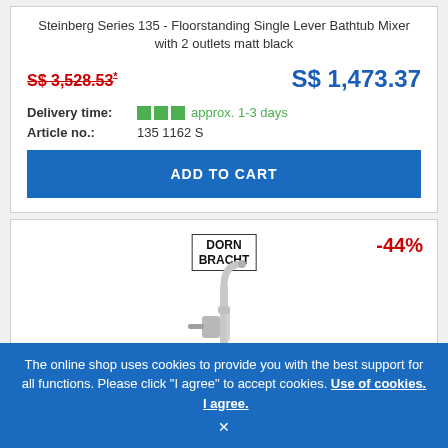Steinberg Series 135 - Floorstanding Single Lever Bathtub Mixer with 2 outlets matt black
S$ 3,528.53* (strikethrough old price)
S$ 1,473.37 (new price)
Delivery time: approx. 1-3 days
Article no.: 135 1162 S
ADD TO CART
[Figure (logo): Dornbracht brand logo in rectangular border]
-44%
[Figure (photo): Floorstanding bathtub mixer faucet, chrome finish]
The online shop uses cookies to provide you with the best support for all functions. Please click "I agree" to accept cookies. Use of cookies. I agree.